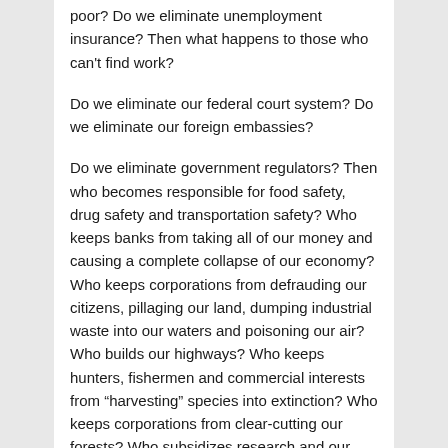poor? Do we eliminate unemployment insurance? Then what happens to those who can't find work?
Do we eliminate our federal court system? Do we eliminate our foreign embassies?
Do we eliminate government regulators? Then who becomes responsible for food safety, drug safety and transportation safety? Who keeps banks from taking all of our money and causing a complete collapse of our economy? Who keeps corporations from defrauding our citizens, pillaging our land, dumping industrial waste into our waters and poisoning our air? Who builds our highways? Who keeps hunters, fishermen and commercial interests from “harvesting” species into extinction? Who keeps corporations from clear-cutting our forests? Who subsidizes research and our universities?
It’s one thing to say that government is too big and out of control. It’s quite another to face the reality of living in a plutocracy with corporations and the greedy allowed to